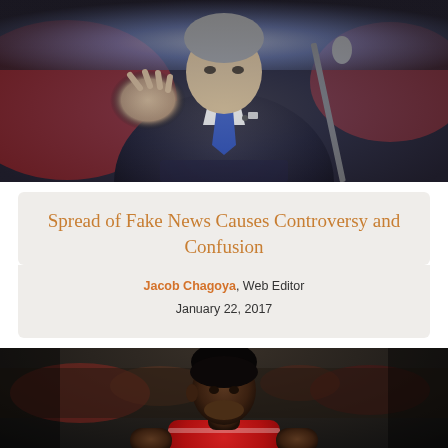[Figure (photo): A man in a dark suit with a blue tie speaking at a podium with a red background, raising his hand in a gesture. Appears to be a political speech or debate setting.]
Spread of Fake News Causes Controversy and Confusion
Jacob Chagoya, Web Editor
January 22, 2017
[Figure (photo): A basketball player wearing a Chicago Bulls red jersey, standing on a court with a blurred crowd in the background.]